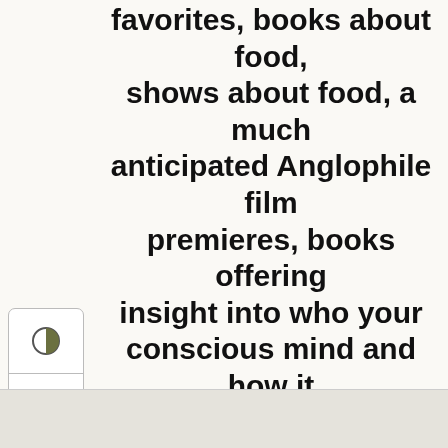favorites, books about food, shows about food, a much anticipated Anglophile film premieres, books offering insight into who your conscious mind and how it operates, the objectification of women's bodies – how it happened and how to make a cultural shift, a new classical album by young British musicians and still much more.
[Figure (other): UI toolbar with three buttons: contrast/half-circle icon, font size (TT) icon, and upload/share arrow icon]